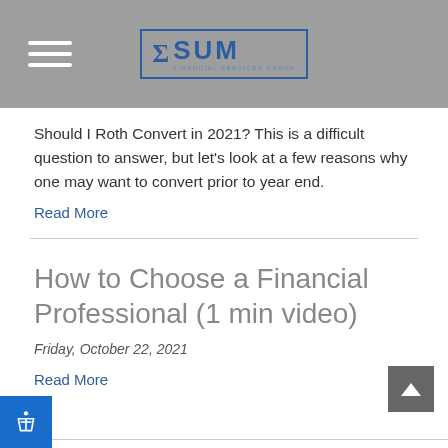ΣSUM Financial Services Group
Should I Roth Convert in 2021? This is a difficult question to answer, but let's look at a few reasons why one may want to convert prior to year end.
Read More
How to Choose a Financial Professional (1 min video)
Friday, October 22, 2021
Read More